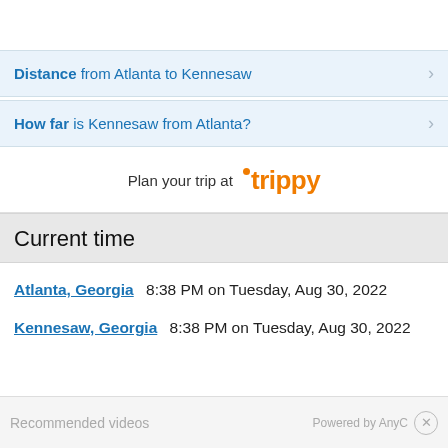Distance from Atlanta to Kennesaw
How far is Kennesaw from Atlanta?
Plan your trip at trippy
Current time
Atlanta, Georgia   8:38 PM on Tuesday, Aug 30, 2022
Kennesaw, Georgia   8:38 PM on Tuesday, Aug 30, 2022
Recommended videos   Powered by AnyC   ×